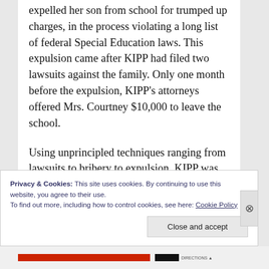expelled her son from school for trumped up charges, in the process violating a long list of federal Special Education laws. This expulsion came after KIPP had filed two lawsuits against the family. Only one month before the expulsion, KIPP's attorneys offered Mrs. Courtney $10,000 to leave the school.
Using unprincipled techniques ranging from lawsuits to bribery to expulsion, KIPP was more committed to getting rid of a Special Needs kid than serving his needs.
Privacy & Cookies: This site uses cookies. By continuing to use this website, you agree to their use.
To find out more, including how to control cookies, see here: Cookie Policy
Close and accept